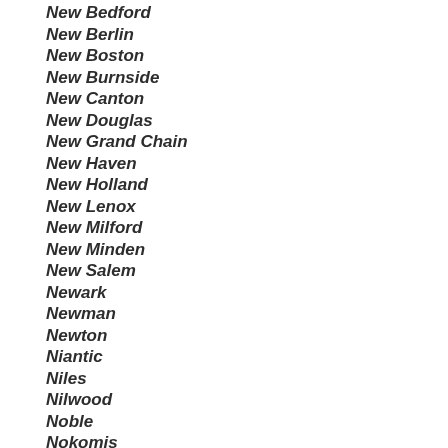New Bedford
New Berlin
New Boston
New Burnside
New Canton
New Douglas
New Grand Chain
New Haven
New Holland
New Lenox
New Milford
New Minden
New Salem
Newark
Newman
Newton
Niantic
Niles
Nilwood
Noble
Nokomis
Nora
Normal
Norridge
Norris